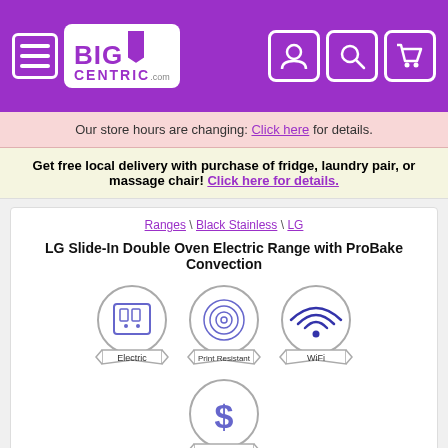[Figure (logo): BigCentric.com logo with menu icon and navigation icons (user, search, cart) on purple header background]
Our store hours are changing: Click here for details.
Get free local delivery with purchase of fridge, laundry pair, or massage chair! Click here for details.
Ranges \ Black Stainless \ LG
LG Slide-In Double Oven Electric Range with ProBake Convection
[Figure (infographic): Four feature badges: Electric, Print Resistant, WiFi, On Sale!]
[Figure (photo): Bottom portion of LG electric range stove]